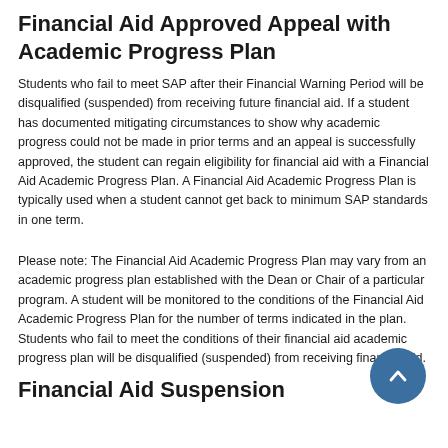Financial Aid Approved Appeal with Academic Progress Plan
Students who fail to meet SAP after their Financial Warning Period will be disqualified (suspended) from receiving future financial aid. If a student has documented mitigating circumstances to show why academic progress could not be made in prior terms and an appeal is successfully approved, the student can regain eligibility for financial aid with a Financial Aid Academic Progress Plan. A Financial Aid Academic Progress Plan is typically used when a student cannot get back to minimum SAP standards in one term.
Please note: The Financial Aid Academic Progress Plan may vary from an academic progress plan established with the Dean or Chair of a particular program. A student will be monitored to the conditions of the Financial Aid Academic Progress Plan for the number of terms indicated in the plan. Students who fail to meet the conditions of their financial aid academic progress plan will be disqualified (suspended) from receiving financial aid.
Financial Aid Suspension